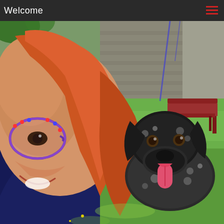Welcome
[Figure (photo): Selfie-style photograph of a smiling young woman with long reddish-auburn hair and blue/purple polka-dot glasses, wearing a dark blue top. To her right is a black and white English Setter dog with its tongue out, standing on green grass. In the background is a stone wall and a red wooden bench.]